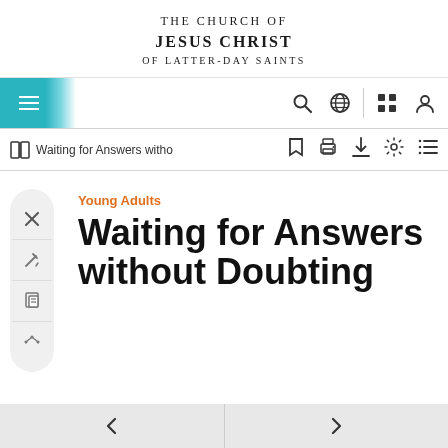THE CHURCH OF JESUS CHRIST OF LATTER-DAY SAINTS
[Figure (screenshot): Navigation bar with hamburger menu on the left (teal background), search icon, globe icon, grid icon, and user/account icon on the right]
[Figure (screenshot): Toolbar with book icon and text 'Waiting for Answers witho' truncated, followed by bookmark, print, download, settings, and list icons]
Young Adults
Waiting for Answers without Doubting
← →